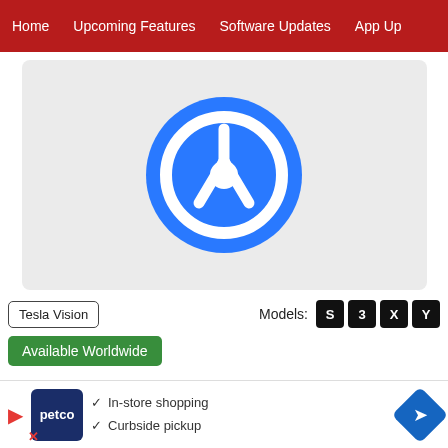Home  Upcoming Features  Software Updates  App Up
[Figure (illustration): Blue circle with white steering wheel icon on a light grey rounded rectangle background]
Tesla Vision
Models: S 3 X Y
Available Worldwide
Autopilot's maximum speed has been increased from 80 mph to 85 mph. Please continue to remain attentive and be ready to take